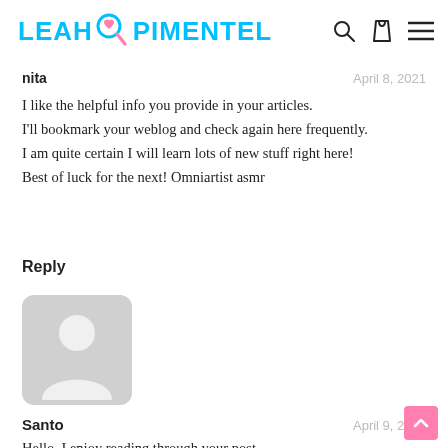LEAH PIMENTEL
nita   April 8, 2021
I like the helpful info you provide in your articles.
I'll bookmark your weblog and check again here frequently.
I am quite certain I will learn lots of new stuff right here!
Best of luck for the next! Omniartist asmr
Reply
[Figure (illustration): Default user avatar: grey rounded rectangle with silhouette of a person (circle head, body shape) in white]
Santo   April 9, 2021
Hello, I enjoy reading through your post.